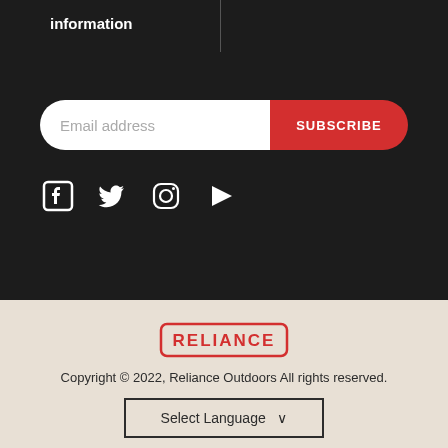information
[Figure (screenshot): Email address input field with red SUBSCRIBE button]
[Figure (infographic): Social media icons: Facebook, Twitter, Instagram, YouTube]
[Figure (logo): RELIANCE logo in red with rounded rectangle border]
Copyright © 2022, Reliance Outdoors All rights reserved.
Select Language ∨